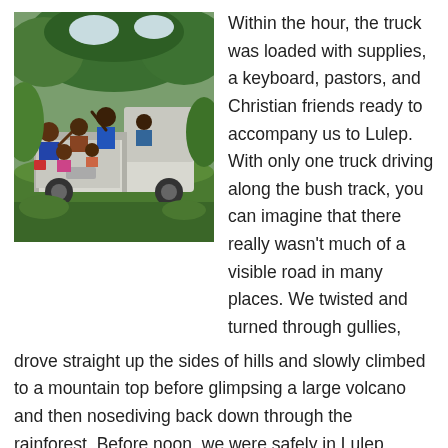[Figure (photo): People riding in the back of a white Mitsubishi pickup truck on a narrow bush track surrounded by green vegetation and trees. Several people are visible waving and smiling in the truck bed.]
Within the hour, the truck was loaded with supplies, a keyboard, pastors, and Christian friends ready to accompany us to Lulep. With only one truck driving along the bush track, you can imagine that there really wasn't much of a visible road in many places. We twisted and turned through gullies, drove straight up the sides of hills and slowly climbed to a mountain top before glimpsing a large volcano and then nosediving back down through the rainforest. Before noon, we were safely in Lulep, shaking hands and meeting Pastor Avock and the congregation. That is when Lori